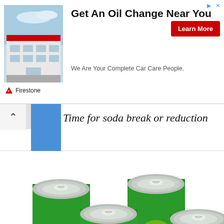[Figure (screenshot): Advertisement banner for Firestone oil change service. Shows a Firestone store building image on the left, with bold text 'Get An Oil Change Near You', subtitle 'We Are Your Complete Car Care People.', a red 'Learn More' button, and the Firestone logo at bottom left.]
[Figure (screenshot): Navigation bar with upward chevron arrow and blue bookmark/tab icon on left side.]
Time for soda break or reduction
[Figure (illustration): Illustration of six green soda cans arranged in a 2x3 cluster, viewed from above-front angle. Cans have silver/grey tops with pull tabs and yellow-green circular logo elements visible on the can bodies.]